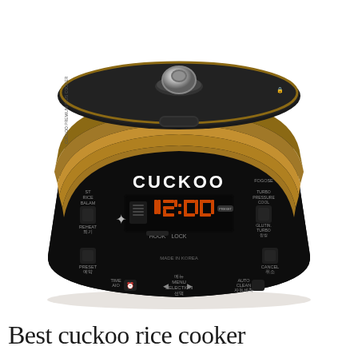[Figure (photo): A Cuckoo brand electric pressure rice cooker with a black body and bronze/gold metallic band around the top. The cooker has a digital display showing 12:00 in orange LED digits, the CUCKOO brand name, and various control buttons including REHEAT, PRESET, TIME, MENU SELECTION, PRESSURE COOL, GLUTINOUS, CANCEL, AUTO CLEAN, and MADE IN KOREA text. The lid top has a metallic steam valve.]
Best cuckoo rice cooker